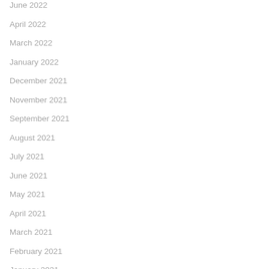June 2022
April 2022
March 2022
January 2022
December 2021
November 2021
September 2021
August 2021
July 2021
June 2021
May 2021
April 2021
March 2021
February 2021
January 2021